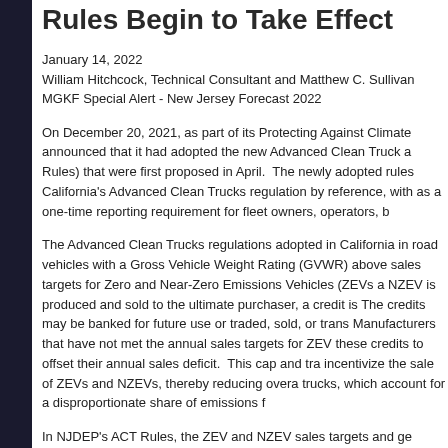Rules Begin to Take Effect
January 14, 2022
William Hitchcock, Technical Consultant and Matthew C. Sullivan
MGKF Special Alert - New Jersey Forecast 2022
On December 20, 2021, as part of its Protecting Against Climate announced that it had adopted the new Advanced Clean Truck a Rules) that were first proposed in April.  The newly adopted rules California's Advanced Clean Trucks regulation by reference, with as a one-time reporting requirement for fleet owners, operators, b
The Advanced Clean Trucks regulations adopted in California in road vehicles with a Gross Vehicle Weight Rating (GVWR) above sales targets for Zero and Near-Zero Emissions Vehicles (ZEVs a NZEV is produced and sold to the ultimate purchaser, a credit is The credits may be banked for future use or traded, sold, or trans Manufacturers that have not met the annual sales targets for ZEV these credits to offset their annual sales deficit.  This cap and tra incentivize the sale of ZEVs and NZEVs, thereby reducing overa trucks, which account for a disproportionate share of emissions f
In NJDEP's ACT Rules, the ZEV and NZEV sales targets and ge manufacturers of on-road vehicles above 8,500 pounds GVWR n and subsequent years for sale in New Jersey on or after January